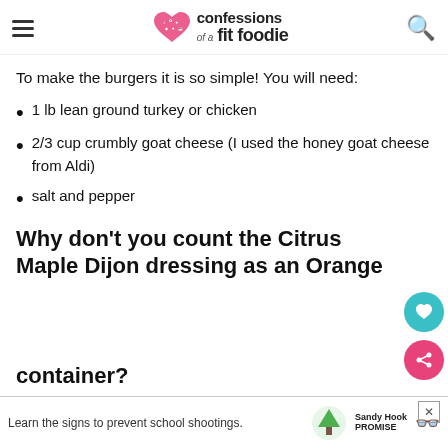confessions of a fit foodie
To make the burgers it is so simple!  You will need:
1 lb lean ground turkey or chicken
2/3 cup crumbly goat cheese (I used the honey goat cheese from Aldi)
salt and pepper
Why don't you count the Citrus Maple Dijon dressing as an Orange container?
This [cut off] ...ealthy
Learn the signs to prevent school shootings.